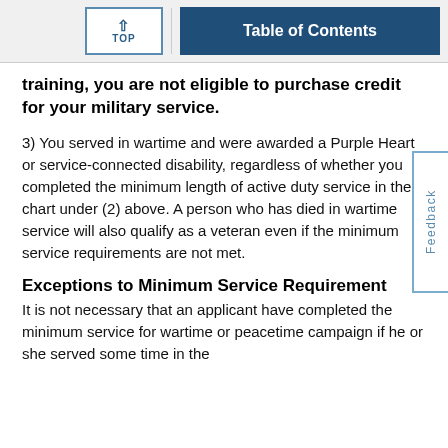TOP | Table of Contents
training, you are not eligible to purchase credit for your military service.
3) You served in wartime and were awarded a Purple Heart or service-connected disability, regardless of whether you completed the minimum length of active duty service in the chart under (2) above. A person who has died in wartime service will also qualify as a veteran even if the minimum service requirements are not met.
Exceptions to Minimum Service Requirement
It is not necessary that an applicant have completed the minimum service for wartime or peacetime campaign if he or she served some time in the